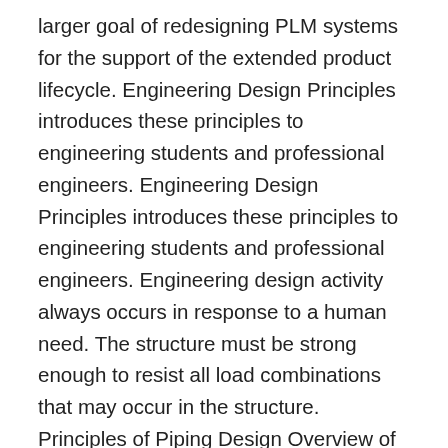larger goal of redesigning PLM systems for the support of the extended product lifecycle. Engineering Design Principles introduces these principles to engineering students and professional engineers. Engineering Design Principles introduces these principles to engineering students and professional engineers. Engineering design activity always occurs in response to a human need. The structure must be strong enough to resist all load combinations that may occur in the structure. Principles of Piping Design Overview of materials, instrumentation, stress, diagrams and layout (6 m). Its emergence coincides with the publication of the first English translations of several textbooks prescribing the methodology (e.g.. … A typical design research includes prescribed models, the design process, how to use and how to disable the design done. that is, standard management models that